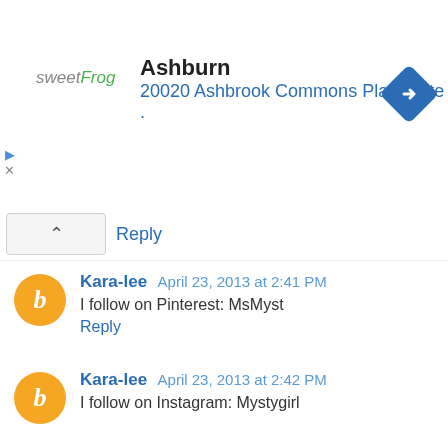[Figure (screenshot): Ad banner for sweetFrog frozen yogurt showing Ashburn location at 20020 Ashbrook Commons Plaza, Ste . with navigation diamond icon]
Reply
Kara-lee April 23, 2013 at 2:41 PM
I follow on Pinterest: MsMyst
Reply
Kara-lee April 23, 2013 at 2:42 PM
I follow on Instagram: Mystygirl
Reply
Unknown April 23, 2013 at 3:17 PM
What a fantastic giveaway, would love this amazing